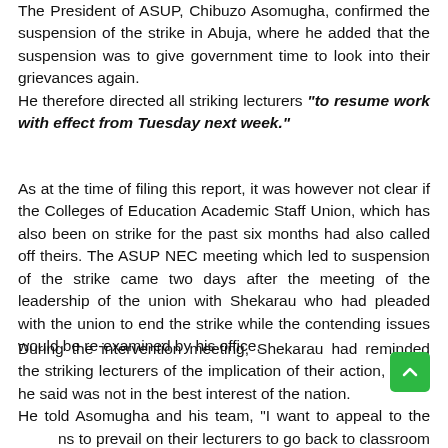The President of ASUP, Chibuzo Asomugha, confirmed the suspension of the strike in Abuja, where he added that the suspension was to give government time to look into their grievances again.
He therefore directed all striking lecturers "to resume work with effect from Tuesday next week."
As at the time of filing this report, it was however not clear if the Colleges of Education Academic Staff Union, which has also been on strike for the past six months had also called off theirs. The ASUP NEC meeting which led to suspension of the strike came two days after the meeting of the leadership of the union with Shekarau who had pleaded with the union to end the strike while the contending issues would be re-examined by his office.
During the intervention meeting, Shekarau had reminded the striking lecturers of the implication of their action, which he said was not in the best interest of the nation.
He told Asomugha and his team, "I want to appeal to the unions to prevail on their lecturers to go back to classroom while we come together and re-examine those grievances that has been...